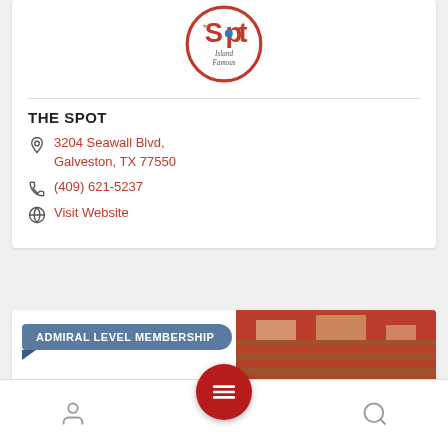[Figure (logo): The Spot Island Famous restaurant logo - circular red border with stylized text]
THE SPOT
3204 Seawall Blvd, Galveston, TX 77550
(409) 621-5237
Visit Website
ADMIRAL LEVEL MEMBERSHIP
[Figure (photo): Photo of building exterior with red architectural elements]
Bottom navigation bar with user icon, hamburger menu button, and search icon